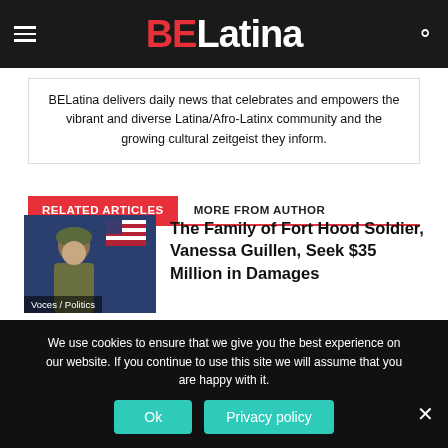BELatina
BELatina delivers daily news that celebrates and empowers the vibrant and diverse Latina/Afro-Latinx community and the growing cultural zeitgeist they inform.
RELATED ARTICLES | MORE FROM AUTHOR
[Figure (photo): Photo of Fort Hood soldier Vanessa Guillen in military uniform with US flag in background. Category label: Voces / Politics]
The Family of Fort Hood Soldier, Vanessa Guillen, Seek $35 Million in Damages
We use cookies to ensure that we give you the best experience on our website. If you continue to use this site we will assume that you are happy with it.